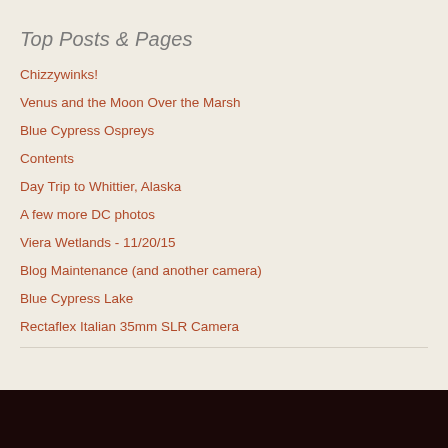Top Posts & Pages
Chizzywinks!
Venus and the Moon Over the Marsh
Blue Cypress Ospreys
Contents
Day Trip to Whittier, Alaska
A few more DC photos
Viera Wetlands - 11/20/15
Blog Maintenance (and another camera)
Blue Cypress Lake
Rectaflex Italian 35mm SLR Camera